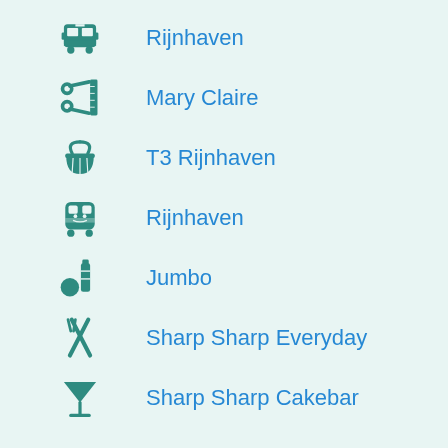Rijnhaven
Mary Claire
T3 Rijnhaven
Rijnhaven
Jumbo
Sharp Sharp Everyday
Sharp Sharp Cakebar